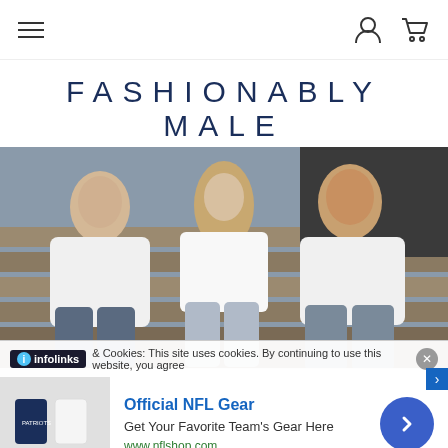FASHIONABLY MALE — navigation bar with hamburger menu, user icon, cart icon
FASHIONABLY MALE
[Figure (photo): Three young models (two men and a woman) seated on wooden bleachers wearing white Levi's t-shirts and jeans in a fashion editorial photo]
infolinks & Cookies: This site uses cookies. By continuing to use this website, you agree
Official NFL Gear
Get Your Favorite Team's Gear Here
www.nflshop.com